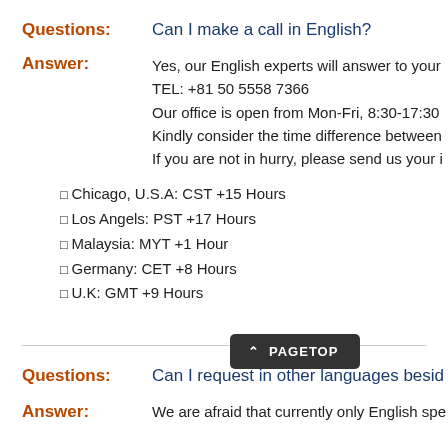Questions: Can I make a call in English?
Answer: Yes, our English experts will answer to your TEL: +81 50 5558 7366 Our office is open from Mon-Fri, 8:30-17:30 Kindly consider the time difference between If you are not in hurry, please send us your
Chicago, U.S.A: CST +15 Hours
Los Angels: PST +17 Hours
Malaysia: MYT +1 Hour
Germany: CET +8 Hours
U.K: GMT +9 Hours
Questions: Can I request in other languages besid
Answer: We are afraid that currently only English spe